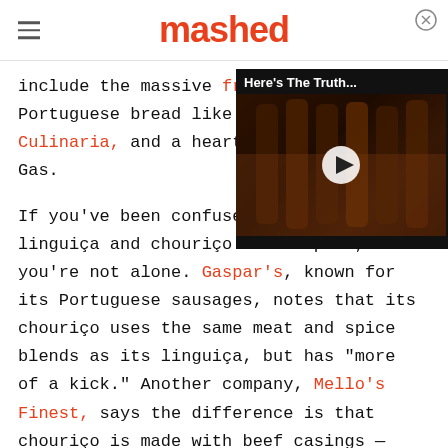mashed
include the massive frances… Portuguese bread like this … Culinaria, and a hearty has… Gas.
[Figure (screenshot): Video overlay with title 'Here's The Truth...' showing bottles of spirits in a dark background with a play button]
If you've been confused between linguiça and chouriço in the past, you're not alone. Gaspar's, known for its Portuguese sausages, notes that its chouriço uses the same meat and spice blends as its linguiça, but has "more of a kick." Another company, Mello's Finest, says the difference is that chouriço is made with beef casings — however, Leite's Culinaria claims both sausages are